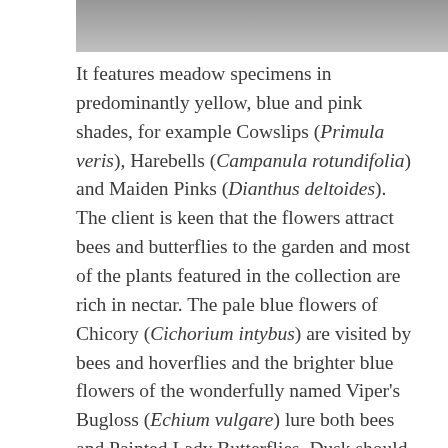[Figure (photo): Partial image of meadow flowers at top of page, shown as a gray gradient bar (cropped photo)]
It features meadow specimens in predominantly yellow, blue and pink shades, for example Cowslips (Primula veris), Harebells (Campanula rotundifolia) and Maiden Pinks (Dianthus deltoides). The client is keen that the flowers attract bees and butterflies to the garden and most of the plants featured in the collection are rich in nectar. The pale blue flowers of Chicory (Cichorium intybus) are visited by bees and hoverflies and the brighter blue flowers of the wonderfully named Viper's Bugloss (Echium vulgare) lure both bees and Painted Lady Butterflies. Dusk should be a fascinating time in this little patch of meadow